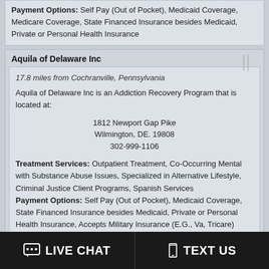Payment Options: Self Pay (Out of Pocket), Medicaid Coverage, Medicare Coverage, State Financed Insurance besides Medicaid, Private or Personal Health Insurance
Aquila of Delaware Inc
17.8 miles from Cochranville, Pennsylvania
Aquila of Delaware Inc is an Addiction Recovery Program that is located at:

1812 Newport Gap Pike
Wilmington, DE. 19808
302-999-1106

Treatment Services: Outpatient Treatment, Co-Occurring Mental with Substance Abuse Issues, Specialized in Alternative Lifestyle, Criminal Justice Client Programs, Spanish Services
Payment Options: Self Pay (Out of Pocket), Medicaid Coverage, State Financed Insurance besides Medicaid, Private or Personal Health Insurance, Accepts Military Insurance (E.G., Va, Tricare)
Rockford Center
18.1 miles from Cochranville, Pennsylvania
Rockford Center is a Drug Recovery Facility that is located at:
LIVE CHAT   TEXT US